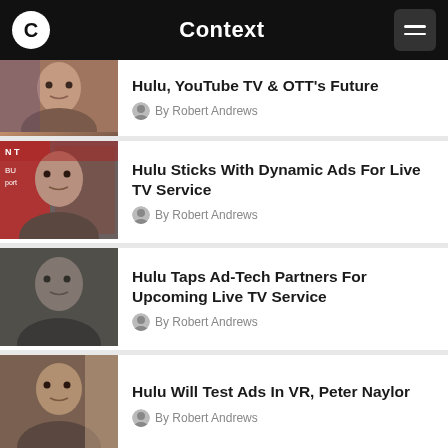Context
Hulu, YouTube TV & OTT's Future
By Robert Andrews
Hulu Sticks With Dynamic Ads For Live TV Service
By Robert Andrews
Hulu Taps Ad-Tech Partners For Upcoming Live TV Service
By Robert Andrews
Hulu Will Test Ads In VR, Peter Naylor
By Robert Andrews